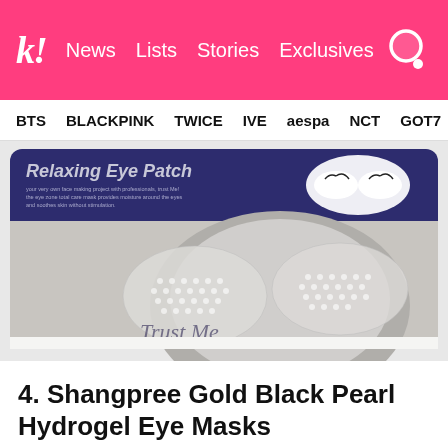k! News Lists Stories Exclusives
BTS BLACKPINK TWICE IVE aespa NCT GOTT
[Figure (photo): Product photo of Trust Me Relaxing Eye Patch hydrogel eye mask packaging, showing a model with eye patches applied and package design with Korean and English text.]
4. Shangpree Gold Black Pearl Hydrogel Eye Masks